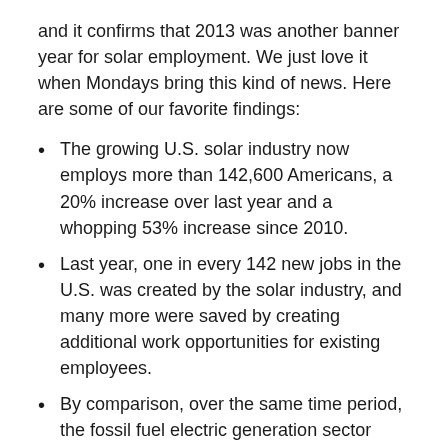and it confirms that 2013 was another banner year for solar employment. We just love it when Mondays bring this kind of news. Here are some of our favorite findings:
The growing U.S. solar industry now employs more than 142,600 Americans, a 20% increase over last year and a whopping 53% increase since 2010.
Last year, one in every 142 new jobs in the U.S. was created by the solar industry, and many more were saved by creating additional work opportunities for existing employees.
By comparison, over the same time period, the fossil fuel electric generation sector shrank by more than 8,500 jobs (a decline of 8.7%).
The solar industry is a strong employer of